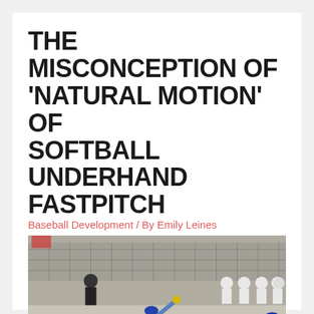THE MISCONCEPTION OF 'NATURAL MOTION' OF SOFTBALL UNDERHAND FASTPITCH
Baseball Development / By Emily Leines
[Figure (photo): A softball pitcher in a blue uniform delivering an underhand pitch at a softball field, with players seated in the dugout in the background.]